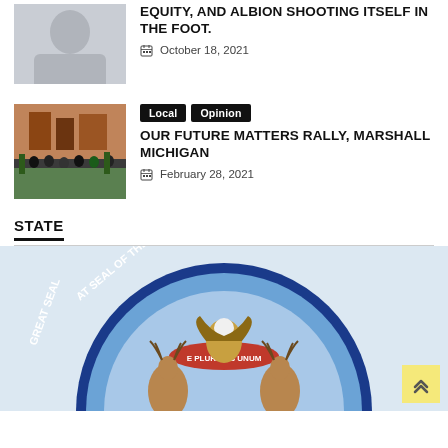EQUITY, AND ALBION SHOOTING ITSELF IN THE FOOT.
October 18, 2021
Local  Opinion
OUR FUTURE MATTERS RALLY, MARSHALL MICHIGAN
February 28, 2021
STATE
[Figure (photo): Partial view of the Great Seal of the State of Michigan, showing elk, moose, eagle, and motto ribbon with E Pluribus Unum, blue circular border with text.]